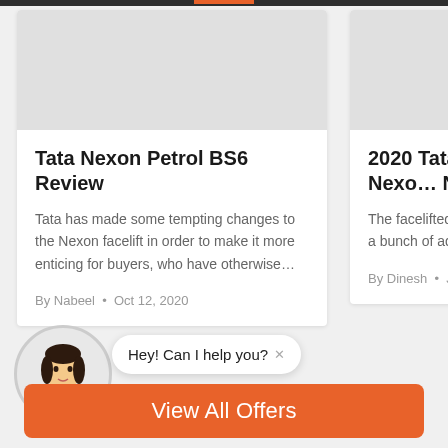Tata Nexon Petrol BS6 Review
Tata has made some tempting changes to the Nexon facelift in order to make it more enticing for buyers, who have otherwise…
By Nabeel • Oct 12, 2020
2020 Tata Nexo… New
The facelifted Nexon and a bunch of additi…
By Dinesh • Jan 25, …
[Figure (illustration): Chat widget with female avatar and speech bubble saying 'Hey! Can I help you?' with a close button]
Hey! Can I help you? ×
View All Offers